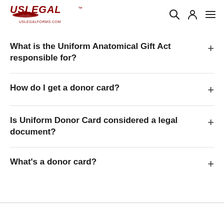USLegal uslegalforms.com
What is the Uniform Anatomical Gift Act responsible for?
How do I get a donor card?
Is Uniform Donor Card considered a legal document?
What's a donor card?